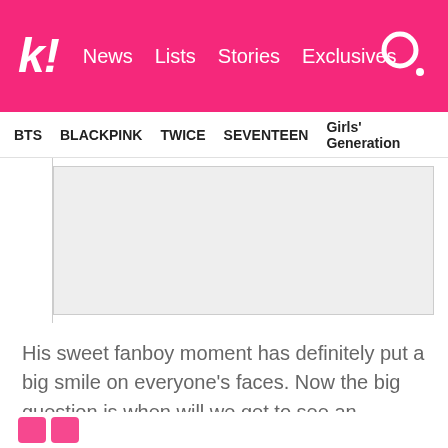k! News  Lists  Stories  Exclusives
BTS  BLACKPINK  TWICE  SEVENTEEN  Girls' Generation
[Figure (photo): Placeholder image area within article layout]
His sweet fanboy moment has definitely put a big smile on everyone's faces. Now the big question is when will we get to see an interaction between Taeyang and a member of EXO in real life?